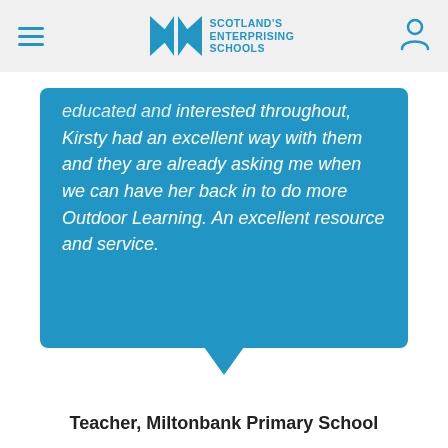Scotland's Enterprising Schools
educated and interested throughout, Kirsty had an excellent way with them and they are already asking me when we can have her back in to do more Outdoor Learning. An excellent resource and service.
Teacher, Miltonbank Primary School